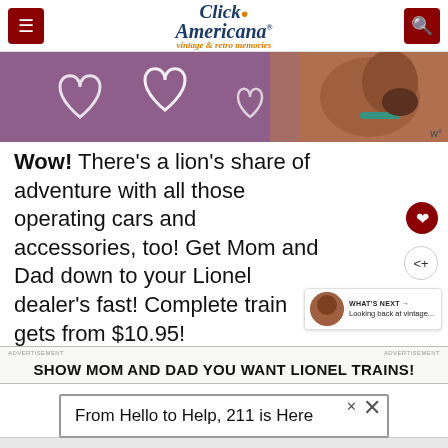Click Americana – vintage & retro memories
[Figure (photo): Partial hero image showing a purple/mauve background with white heart outlines on the left, and a dog (brown, wearing a teal collar) on the right side.]
Wow! There's a lion's share of adventure with all those operating cars and accessories, too! Get Mom and Dad down to your Lionel dealer's fast! Complete train gets from $10.95!
[Figure (infographic): WHAT'S NEXT arrow label with thumbnail image and text: Looking back at vintage...]
SHOW MOM AND DAD YOU WANT LIONEL TRAINS!
From Hello to Help, 211 is Here